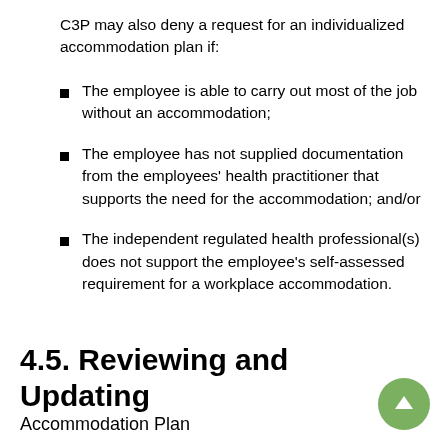C3P may also deny a request for an individualized accommodation plan if:
The employee is able to carry out most of the job without an accommodation;
The employee has not supplied documentation from the employees' health practitioner that supports the need for the accommodation; and/or
The independent regulated health professional(s) does not support the employee's self-assessed requirement for a workplace accommodation.
4.5. Reviewing and Updating Accommodation Plan